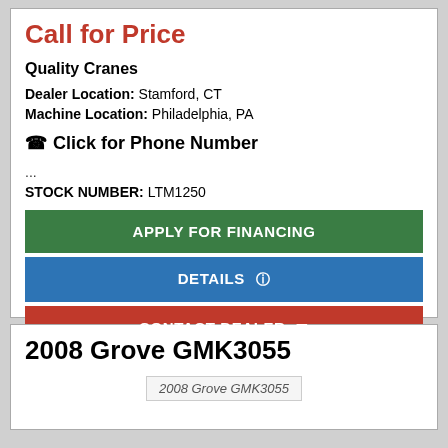Call for Price
Quality Cranes
Dealer Location: Stamford, CT
Machine Location: Philadelphia, PA
☎ Click for Phone Number
...
STOCK NUMBER: LTM1250
APPLY FOR FINANCING
DETAILS ℹ
CONTACT DEALER ✉
2008 Grove GMK3055
[Figure (photo): Thumbnail image of 2008 Grove GMK3055 crane, partially visible at bottom of page]